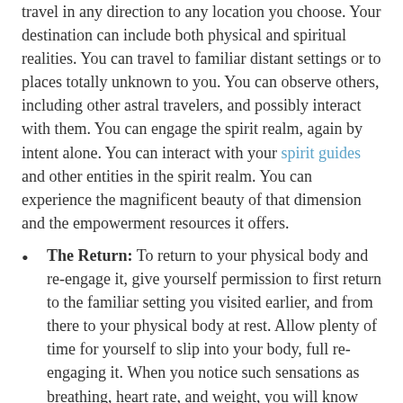travel in any direction to any location you choose. Your destination can include both physical and spiritual realities. You can travel to familiar distant settings or to places totally unknown to you. You can observe others, including other astral travelers, and possibly interact with them. You can engage the spirit realm, again by intent alone. You can interact with your spirit guides and other entities in the spirit realm. You can experience the magnificent beauty of that dimension and the empowerment resources it offers.
The Return: To return to your physical body and re-engage it, give yourself permission to first return to the familiar setting you visited earlier, and from there to your physical body at rest. Allow plenty of time for yourself to slip into your body, full re-engaging it. When you notice such sensations as breathing, heart rate, and weight, you will know you are back in your